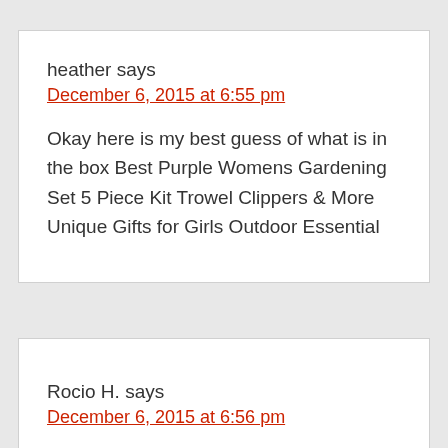heather says
December 6, 2015 at 6:55 pm
Okay here is my best guess of what is in the box Best Purple Womens Gardening Set 5 Piece Kit Trowel Clippers & More Unique Gifts for Girls Outdoor Essential
Rocio H. says
December 6, 2015 at 6:56 pm